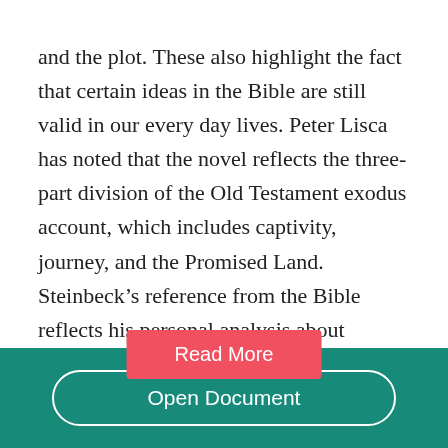and the plot. These also highlight the fact that certain ideas in the Bible are still valid in our every day lives. Peter Lisca has noted that the novel reflects the three-part division of the Old Testament exodus account, which includes captivity, journey, and the Promised Land. Steinbeck’s reference from the Bible reflects his personal analysis about religion and allows him to reinforce his theme of migrant families emerging to form a community to work together....